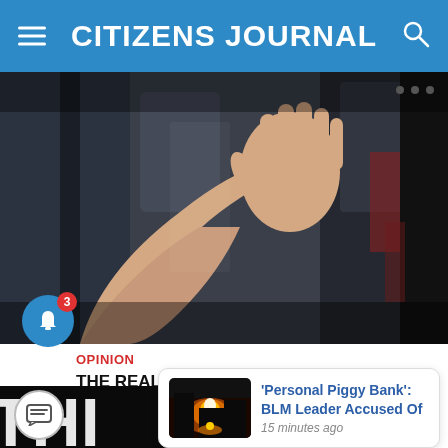CITIZENS JOURNAL
[Figure (photo): Person pressing hand against riot police shields at a protest]
OPINION
THE REAL THREAT TO DEMOCRACY–THE EMERGING DEMOCRAT POLICE STATE
[Figure (photo): Notification popup: 'Personal Piggy Bank': BLM Leader Accused Of — 15 minutes ago, with thumbnail of fire/burning building]
[Figure (photo): Bottom strip with large letters partially visible, dark background]